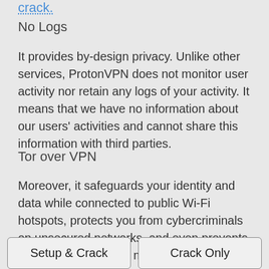crack.
No Logs
It provides by-design privacy. Unlike other services, ProtonVPN does not monitor user activity nor retain any logs of your activity. It means that we have no information about our users' activities and cannot share this information with third parties.
Tor over VPN
Moreover, it safeguards your identity and data while connected to public Wi-Fi hotspots, protects you from cybercriminals on unsecured networks, and even prevents ISPs from tracking or monitoring your activities online.
Setup & Crack
Crack Only